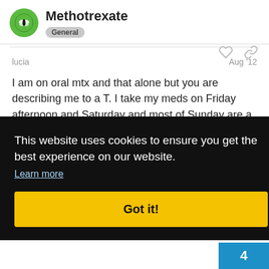Methotrexate — General
lucia   Aug '12
I am on oral mtx and that alone but you are describing me to a T. I take my meds on Friday afternoon and Saturday and most of Sunday are a loss. Being wipedout is exactly how I [feel...] to do [some things...] ause [... ] n after [... ] ys.
This website uses cookies to ensure you get the best experience on our website. Learn more
Got it!